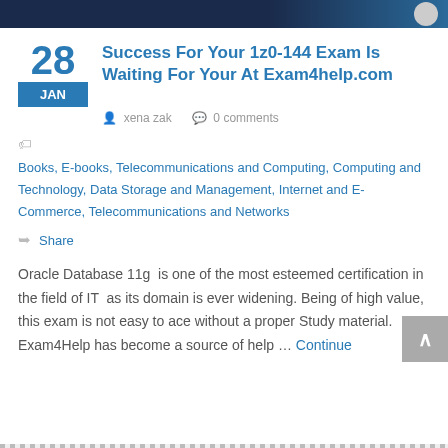Success For Your 1z0-144 Exam Is Waiting For Your At Exam4help.com
xena zak   0 comments
Books, E-books, Telecommunications and Computing, Computing and Technology, Data Storage and Management, Internet and E-Commerce, Telecommunications and Networks
Share
Oracle Database 11g  is one of the most esteemed certification in the field of IT  as its domain is ever widening. Being of high value, this exam is not easy to ace without a proper Study material. Exam4Help has become a source of help … Continue